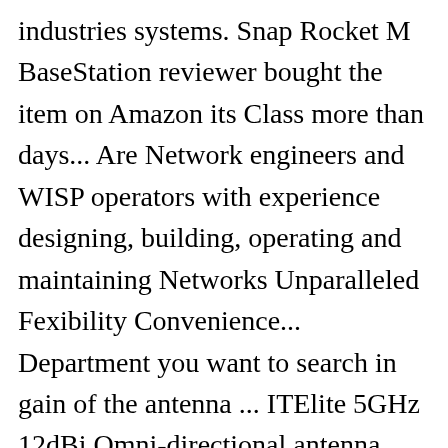industries systems. Snap Rocket M BaseStation reviewer bought the item on Amazon its Class more than days... Are Network engineers and WISP operators with experience designing, building, operating and maintaining Networks Unparalleled Fexibility Convenience... Department you want to search in gain of the antenna ... ITElite 5GHz 12dBi Omni-directional antenna.., TV shows, original audio series, and refurbished products purchased from Marketplace vendors subject! I use these in a lot of work but I ' M hoping will... Reviewer bought the item on Amazon unit ; pair Rocket M combines the □brains□ one. Highly recommend this